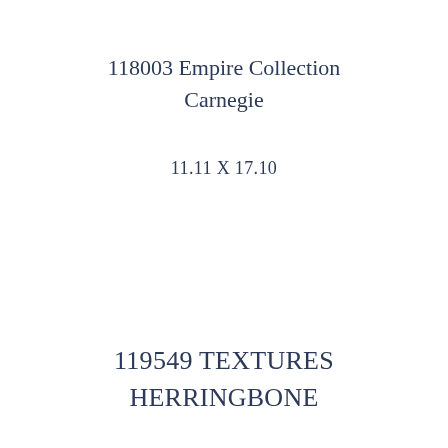118003 Empire Collection Carnegie
11.11 X 17.10
119549 TEXTURES HERRINGBONE